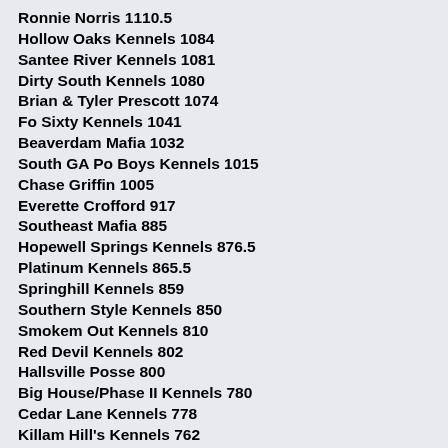Ronnie Norris 1110.5
Hollow Oaks Kennels 1084
Santee River Kennels 1081
Dirty South Kennels 1080
Brian & Tyler Prescott 1074
Fo Sixty Kennels 1041
Beaverdam Mafia 1032
South GA Po Boys Kennels 1015
Chase Griffin 1005
Everette Crofford 917
Southeast Mafia 885
Hopewell Springs Kennels 876.5
Platinum Kennels 865.5
Springhill Kennels 859
Southern Style Kennels 850
Smokem Out Kennels 810
Red Devil Kennels 802
Hallsville Posse 800
Big House/Phase II Kennels 780
Cedar Lane Kennels 778
Killam Hill's Kennels 762
747 Kennels 750
Tomahawk Fox Pen 750
Bobby Parker 741
Cross Road's Kennels 736